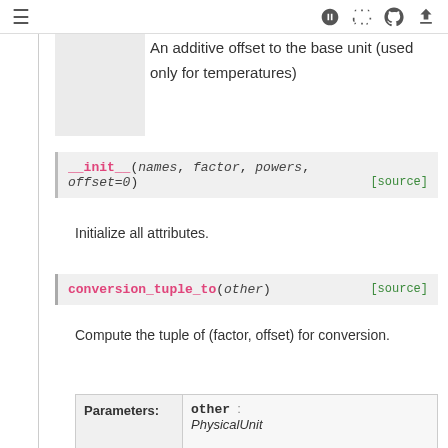≡  🚀  [ ]  GitHub  ⬇
An additive offset to the base unit (used only for temperatures)
__init__(names, factor, powers, offset=0)  [source]
Initialize all attributes.
conversion_tuple_to(other)  [source]
Compute the tuple of (factor, offset) for conversion.
|  | other : PhysicalUnit |
| --- | --- |
| Parameters: | Another unit. |